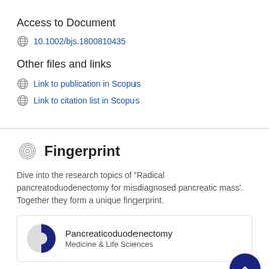Access to Document
10.1002/bjs.1800810435
Other files and links
Link to publication in Scopus
Link to citation list in Scopus
Fingerprint
Dive into the research topics of 'Radical pancreatoduodenectomy for misdiagnosed pancreatic mass'. Together they form a unique fingerprint.
Pancreaticoduodenectomy
Medicine & Life Sciences